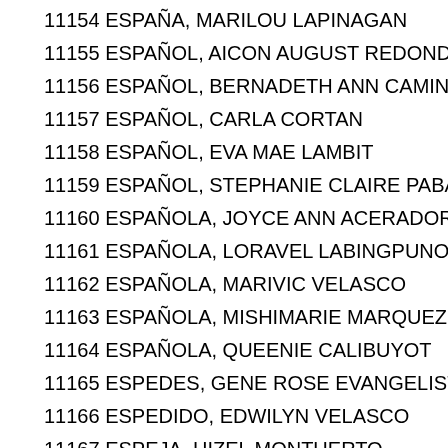11154 ESPAÑA, MARILOU LAPINAGAN
11155 ESPAÑOL, AICON AUGUST REDONDO
11156 ESPAÑOL, BERNADETH ANN CAMINA
11157 ESPAÑOL, CARLA CORTAN
11158 ESPAÑOL, EVA MAE LAMBIT
11159 ESPAÑOL, STEPHANIE CLAIRE PABAYOS
11160 ESPAÑOLA, JOYCE ANN ACERADOR
11161 ESPAÑOLA, LORAVEL LABINGPUNO
11162 ESPAÑOLA, MARIVIC VELASCO
11163 ESPAÑOLA, MISHIMARIE MARQUEZ
11164 ESPAÑOLA, QUEENIE CALIBUYOT
11165 ESPEDES, GENE ROSE EVANGELISTA
11166 ESPEDIDO, EDWILYN VELASCO
11167 ESPEJA, HIZEL MONTUERTO
11168 ESPEJON, BABY JANE SOBERANO